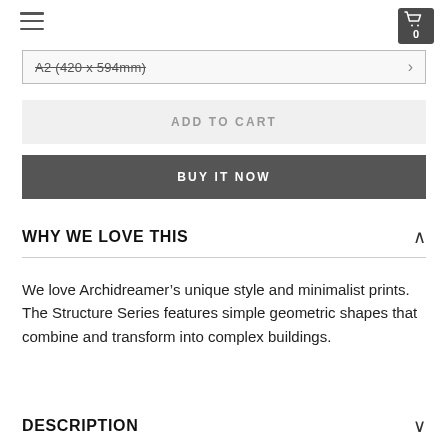Menu | Cart 0
A2 (420 x 594mm)
ADD TO CART
BUY IT NOW
WHY WE LOVE THIS
We love Archidreamer’s unique style and minimalist prints. The Structure Series features simple geometric shapes that combine and transform into complex buildings.
DESCRIPTION